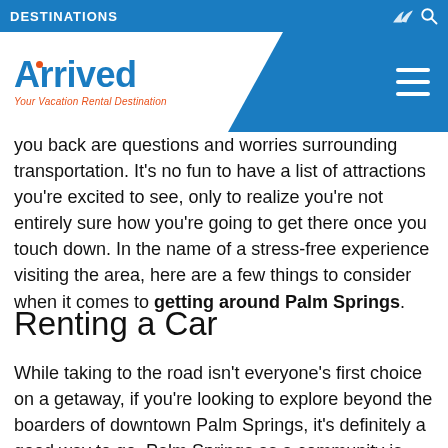DESTINATIONS
[Figure (logo): Arrived logo with blue text and orange dot over the i, subtitle: Your Vacation Rental Destination. Blue diagonal background with white hamburger menu on right.]
you back are questions and worries surrounding transportation. It's no fun to have a list of attractions you're excited to see, only to realize you're not entirely sure how you're going to get there once you touch down. In the name of a stress-free experience visiting the area, here are a few things to consider when it comes to getting around Palm Springs.
Renting a Car
While taking to the road isn't everyone's first choice on a getaway, if you're looking to explore beyond the boarders of downtown Palm Springs, it's definitely a good way to go. Palm Springs as a community is rather compact, however, it is linked to many other communities making up the Coachella Valley and altogether, it could be very challenging to see all the best attractions strictly on